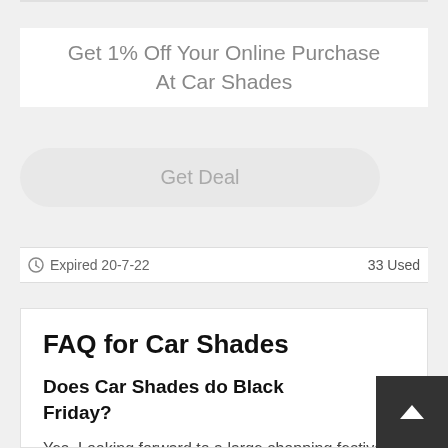Get 1% Off Your Online Purchase At Car Shades
[Figure (other): Get Deal button - a rounded pill-shaped grey button with light grey text]
Expired 20-7-22    33 Used
FAQ for Car Shades
Does Car Shades do Black Friday?
Yes. Looking forward to a large shopping festival so that you can bring home the Car Shades products